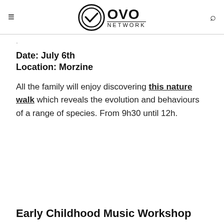OVO NETWORK
Date: July 6th
Location: Morzine
All the family will enjoy discovering this nature walk which reveals the evolution and behaviours of a range of species. From 9h30 until 12h.
Early Childhood Music Workshop